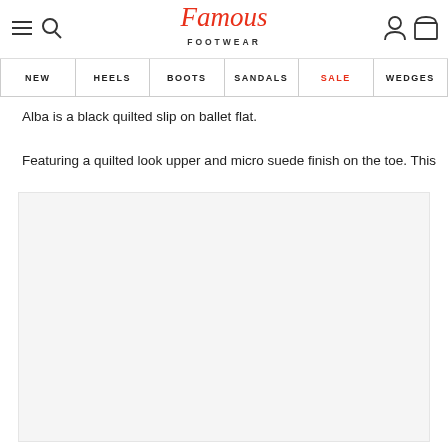Famous Footwear — navigation header with logo, hamburger menu, search, user and cart icons
NEW | HEELS | BOOTS | SANDALS | SALE | WEDGES
Alba is a black quilted slip on ballet flat.
Featuring a quilted look upper and micro suede finish on the toe. This
[Figure (photo): Product image area — blank/loading white rectangle for a shoe product photo]